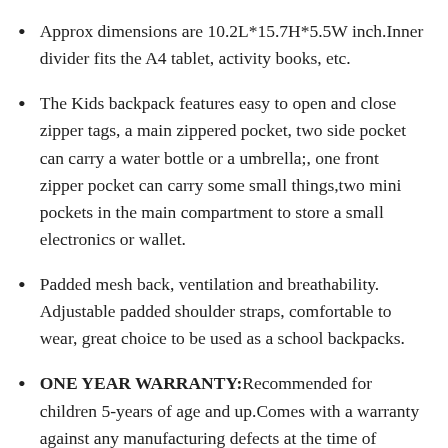Approx dimensions are 10.2L*15.7H*5.5W inch.Inner divider fits the A4 tablet, activity books, etc.
The Kids backpack features easy to open and close zipper tags, a main zippered pocket, two side pocket can carry a water bottle or a umbrella;, one front zipper pocket can carry some small things,two mini pockets in the main compartment to store a small electronics or wallet.
Padded mesh back, ventilation and breathability. Adjustable padded shoulder straps, comfortable to wear, great choice to be used as a school backpacks.
ONE YEAR WARRANTY:Recommended for children 5-years of age and up.Comes with a warranty against any manufacturing defects at the time of purchase.